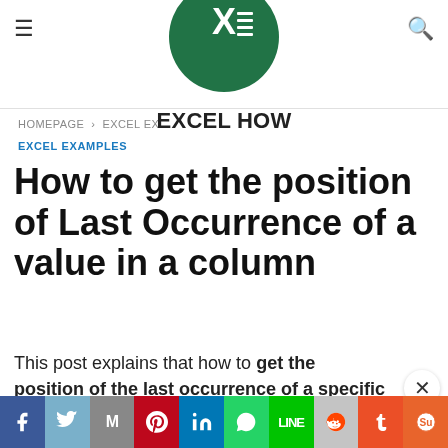EXCEL HOW
HOMEPAGE > EXCEL EX...
EXCEL EXAMPLES
How to get the position of Last Occurrence of a value in a column
This post explains that how to get the position of the last occurrence of a specific value in a